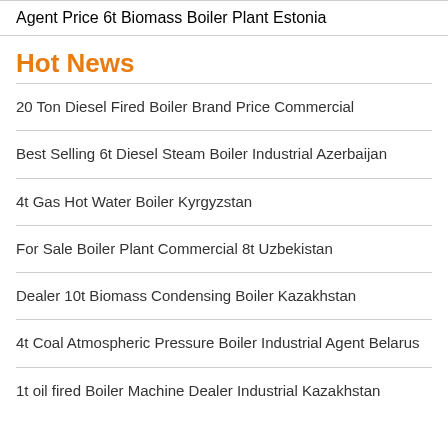Agent Price 6t Biomass Boiler Plant Estonia
Hot News
20 Ton Diesel Fired Boiler Brand Price Commercial
Best Selling 6t Diesel Steam Boiler Industrial Azerbaijan
4t Gas Hot Water Boiler Kyrgyzstan
For Sale Boiler Plant Commercial 8t Uzbekistan
Dealer 10t Biomass Condensing Boiler Kazakhstan
4t Coal Atmospheric Pressure Boiler Industrial Agent Belarus
1t oil fired Boiler Machine Dealer Industrial Kazakhstan